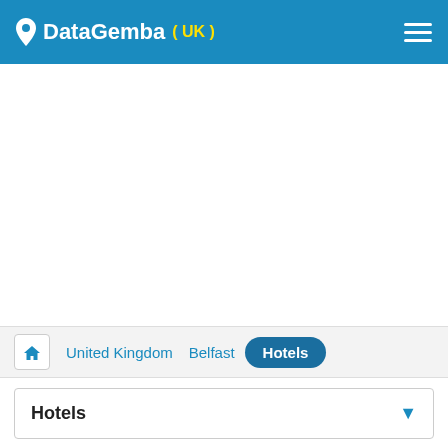DataGemba (UK)
[Figure (screenshot): White empty area (advertisement or map placeholder)]
Home > United Kingdom > Belfast > Hotels
Hotels